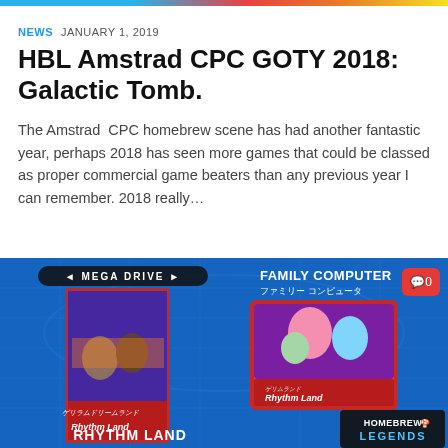NEWS  JANUARY 1, 2019
HBL Amstrad CPC GOTY 2018: Galactic Tomb.
The Amstrad CPC homebrew scene has had another fantastic year, perhaps 2018 has seen more games that could be classed as proper commercial game beaters than any previous year I can remember. 2018 really...
[Figure (photo): Screenshot showing video game box art and cartridge artwork. Left side shows a Mega Drive game box for 'Rhythm Land'. Right side shows a Famicom cartridge for the same game. Bottom right shows a 'Homebrew Legends' logo. Background is blue with circuit board designs. A red comment bubble with '0' is visible in the top right.]